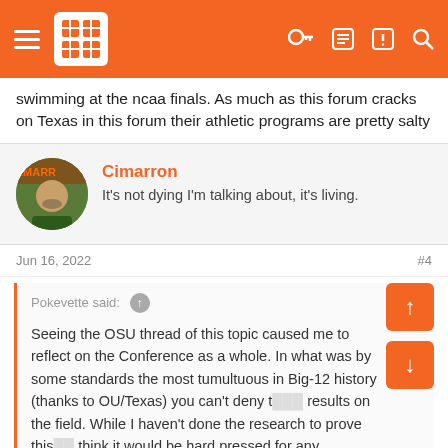Navigation bar with menu, logo, and icons
swimming at the ncaa finals. As much as this forum cracks on Texas in this forum their athletic programs are pretty salty
Cimarron
It's not dying I'm talking about, it's living.
Jun 16, 2022   #4
Pokevette said: ↑

Seeing the OSU thread of this topic caused me to reflect on the Conference as a whole. In what was by some standards the most tumultuous in Big-12 history (thanks to OU/Texas) you can't deny the results on the field. While I haven't done the research to prove this, I think it would be hard pressed for any Conference to have put up as impressive of a year as did the Big-12 in the 2021/2022 season. Very impressive results...

Click to expand...